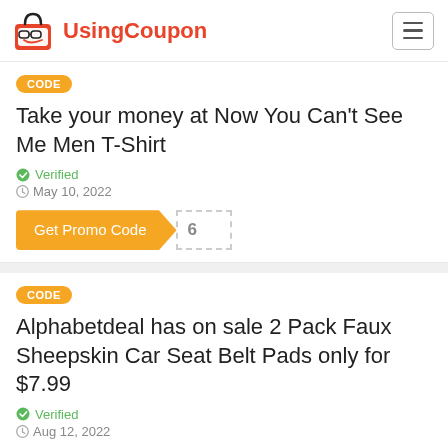UsingCoupon
CODE
Take your money at Now You Can't See Me Men T-Shirt
Verified
May 10, 2022
Get Promo Code 6
CODE
Alphabetdeal has on sale 2 Pack Faux Sheepskin Car Seat Belt Pads only for $7.99
Verified
Aug 12, 2022
Get Promo Code 8